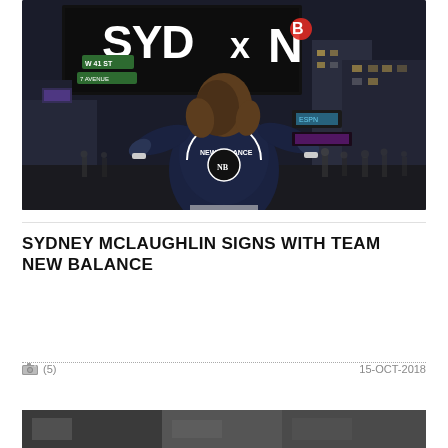[Figure (photo): Photo of a person from behind wearing a New Balance varsity jacket with arms outstretched in Times Square NYC, with a large illuminated billboard reading 'SYD x NB' in the background at night]
SYDNEY MCLAUGHLIN SIGNS WITH TEAM NEW BALANCE
(5)   15-OCT-2018
[Figure (photo): Partially visible second article photo at the bottom of the page]